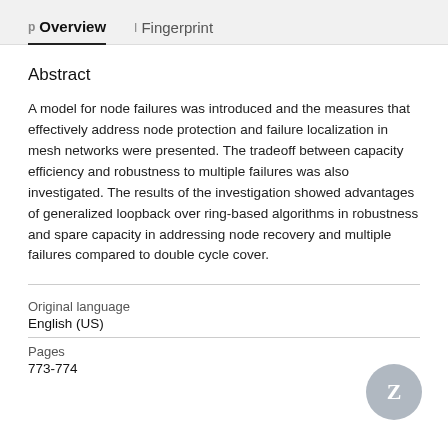p Overview   I Fingerprint
Abstract
A model for node failures was introduced and the measures that effectively address node protection and failure localization in mesh networks were presented. The tradeoff between capacity efficiency and robustness to multiple failures was also investigated. The results of the investigation showed advantages of generalized loopback over ring-based algorithms in robustness and spare capacity in addressing node recovery and multiple failures compared to double cycle cover.
| Original language |  |
| English (US) |  |
| Pages |  |
| 773-774 |  |